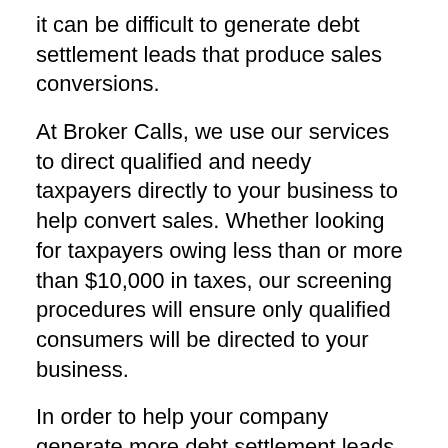it can be difficult to generate debt settlement leads that produce sales conversions.
At Broker Calls, we use our services to direct qualified and needy taxpayers directly to your business to help convert sales. Whether looking for taxpayers owing less than or more than $10,000 in taxes, our screening procedures will ensure only qualified consumers will be directed to your business.
In order to help your company generate more debt settlement leads, we’ve compiled a list of our best lead generation tips in the tax debt relief industry.
Searching for Tax Debt Help
After encountering the bad news that they potentially owe the IRS a sizeable amount of money, taxpayers will eventually start to look for tax debt help. When